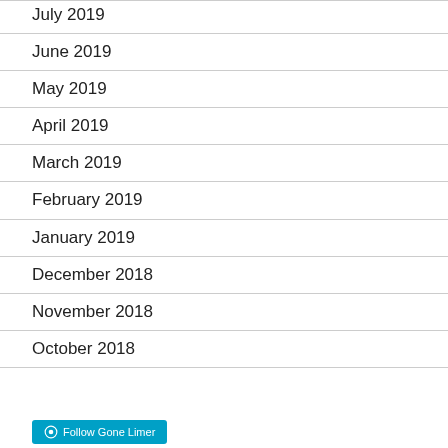July 2019
June 2019
May 2019
April 2019
March 2019
February 2019
January 2019
December 2018
November 2018
October 2018
Follow Gone Limer